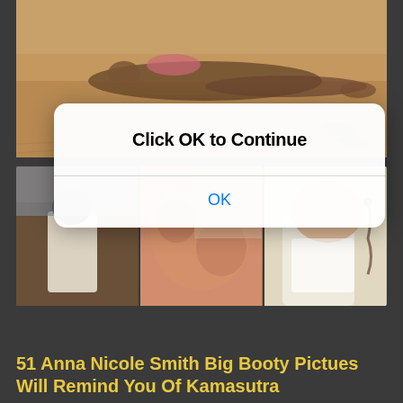[Figure (photo): Photo of a person lying on a sandy beach, viewed from above. Sandy beach with scattered seaweed/debris visible.]
[Figure (screenshot): Browser/app modal dialog overlay with text 'Click OK to Continue' and an OK button, displayed over blurred images below.]
[Figure (photo): Strip of three photos showing partial views of people, displayed below the modal dialog on a dark background.]
51 Anna Nicole Smith Big Booty Pictues Will Remind You Of Kamasutra